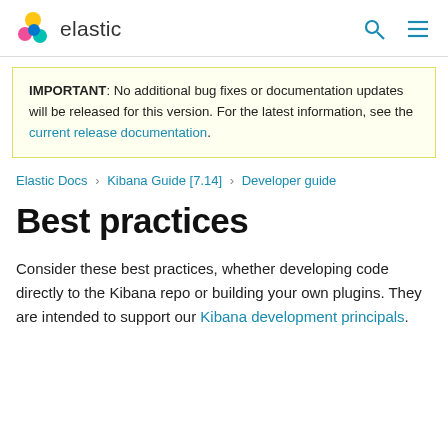elastic
IMPORTANT: No additional bug fixes or documentation updates will be released for this version. For the latest information, see the current release documentation.
Elastic Docs › Kibana Guide [7.14] › Developer guide
Best practices
Consider these best practices, whether developing code directly to the Kibana repo or building your own plugins. They are intended to support our Kibana development principals.